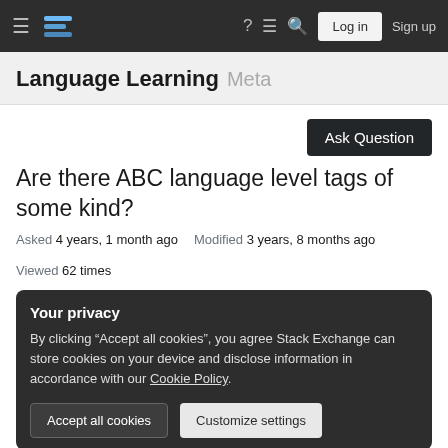Language Learning Meta — Stack Exchange navigation bar with Log in and Sign up buttons
Language Learning Meta
Are there ABC language level tags of some kind?
Asked 4 years, 1 month ago   Modified 3 years, 8 months ago   Viewed 62 times
Your privacy
By clicking "Accept all cookies", you agree Stack Exchange can store cookies on your device and disclose information in accordance with our Cookie Policy.
Accept all cookies   Customize settings